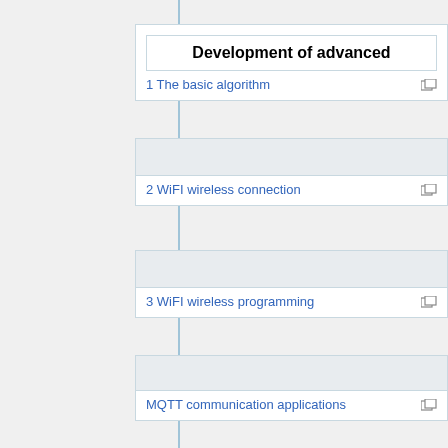Development of advanced
1 The basic algorithm
2 WiFI wireless connection
3 WiFI wireless programming
MQTT communication applications
Wired connection board
1. connect BPI;bit
Connect a board to your computer via a MicroUSB wire, with Windows10 system